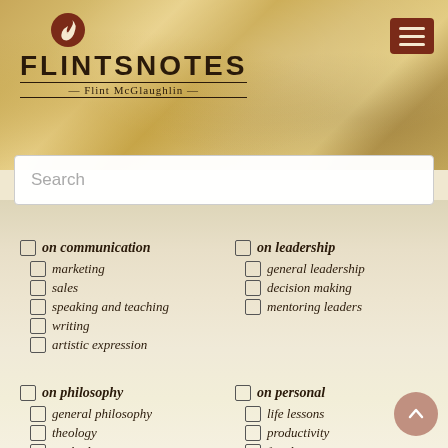FLINTSNOTES — Flint McGlaughlin
[Figure (screenshot): Website header with golden/tan textured background, FLINTSNOTES logo with quill icon, Flint McGlaughlin subtitle, and dark red hamburger menu button]
Search
on communication
marketing
sales
speaking and teaching
writing
artistic expression
on leadership
general leadership
decision making
mentoring leaders
on philosophy
general philosophy
theology
method
philosophers
on personal
life lessons
productivity
family
spiritual